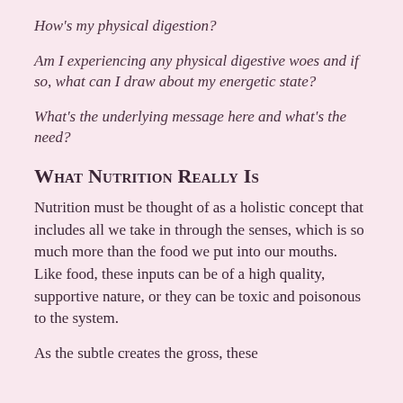How's my physical digestion?
Am I experiencing any physical digestive woes and if so, what can I draw about my energetic state?
What's the underlying message here and what's the need?
What Nutrition Really Is
Nutrition must be thought of as a holistic concept that includes all we take in through the senses, which is so much more than the food we put into our mouths. Like food, these inputs can be of a high quality, supportive nature, or they can be toxic and poisonous to the system.
As the subtle creates the gross, these